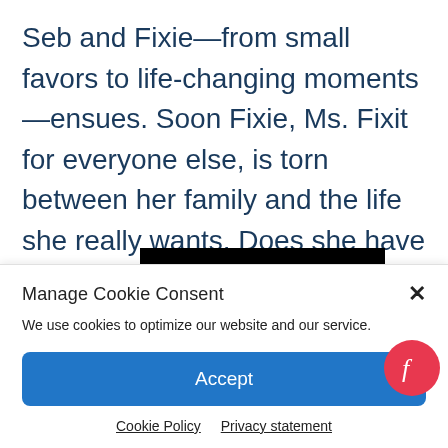Seb and Fixie—from small favors to life-changing moments—ensues. Soon Fixie, Ms. Fixit for everyone else, is torn between her family and the life she really wants. Does she have the courage to take a stand? Will she finally grab the life, and love, she really wants?
[Figure (other): Black redacted bar covering text]
Manage Cookie Consent
We use cookies to optimize our website and our service.
Accept
Cookie Policy   Privacy statement
[Figure (logo): Feedify red circular button with 'f' logo]